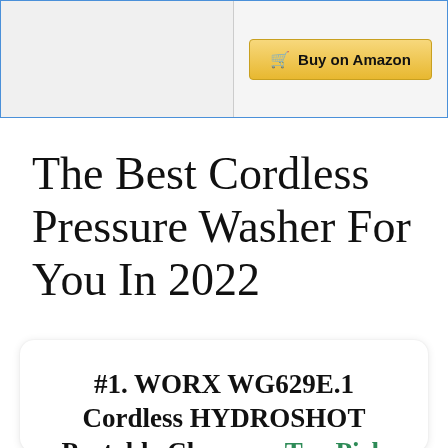|  |  |
| --- | --- |
|  | Buy on Amazon |
The Best Cordless Pressure Washer For You In 2022
#1. WORX WG629E.1 Cordless HYDROSHOT Portable Cleaner – Top Pick